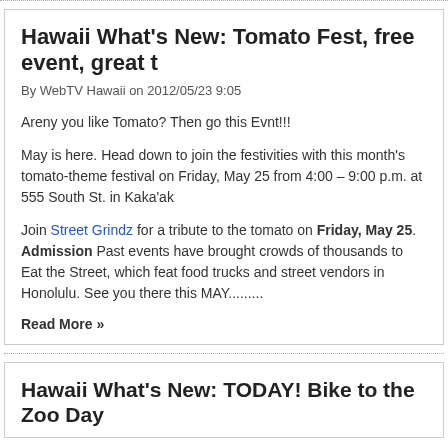Hawaii What's New: Tomato Fest, free event, great t
By WebTV Hawaii on 2012/05/23 9:05
Areny you like Tomato? Then go this Evnt!!!
May is here. Head down to join the festivities with this month's tomato-theme festival on Friday, May 25 from 4:00 – 9:00 p.m. at 555 South St. in Kaka'ak
Join Street Grindz for a tribute to the tomato on Friday, May 25. Admission Past events have brought crowds of thousands to Eat the Street, which feat food trucks and street vendors in Honolulu. See you there this MAY.........
Read More »
Hawaii What's New: TODAY! Bike to the Zoo Day